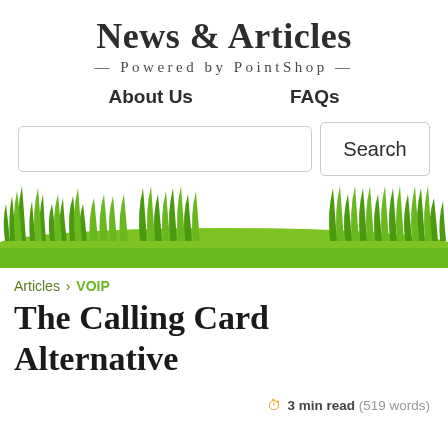News & Articles
— Powered by PointShop —
About Us
FAQs
[Figure (illustration): Grass and nature illustration banner with green grass blades and ground]
Articles › VOIP
The Calling Card Alternative
3 min read (519 words)